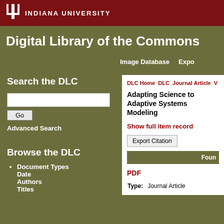[Figure (logo): Indiana University trident logo with IU text in red header bar]
INDIANA UNIVERSITY
Digital Library of the Commons
Image Database
Expe
Search the DLC
Advanced Search
Browse the DLC
Document Types
Date
Authors
Titles
DLC Home  DLC  Journal Article  V
Adapting Science to Adaptive Systems Modeling
Show full item record
Export Citation
Foun
PDF
| Type: |  |
| --- | --- |
| Type: | Journal Article |